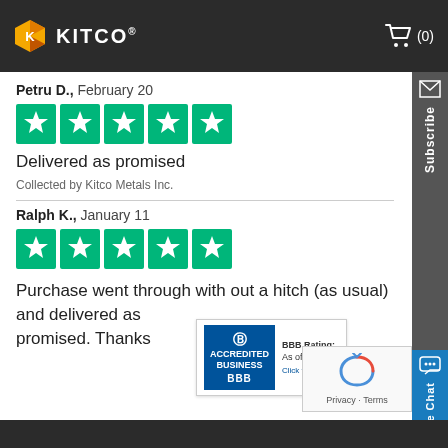KITCO (0)
Petru D., February 20
[Figure (other): Five green Trustpilot stars for Petru D. review]
Delivered as promised
Collected by Kitco Metals Inc.
Ralph K., January 11
[Figure (other): Five green Trustpilot stars for Ralph K. review]
Purchase went through with out a hitch (as usual) and delivered as promised. Thanks